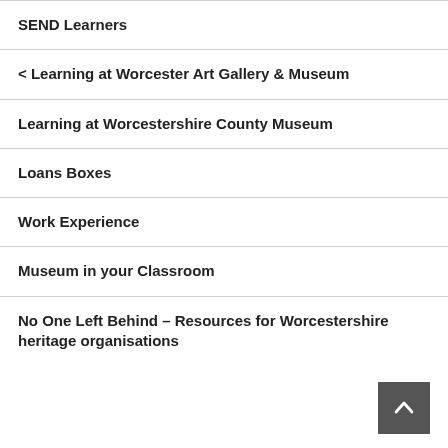SEND Learners
< Learning at Worcester Art Gallery & Museum
Learning at Worcestershire County Museum
Loans Boxes
Work Experience
Museum in your Classroom
No One Left Behind – Resources for Worcestershire heritage organisations